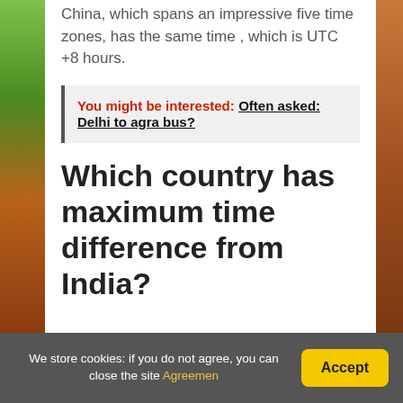China, which spans an impressive five time zones, has the same time , which is UTC +8 hours.
You might be interested:  Often asked: Delhi to agra bus?
Which country has maximum time difference from India?
We store cookies: if you do not agree, you can close the site Agreemen